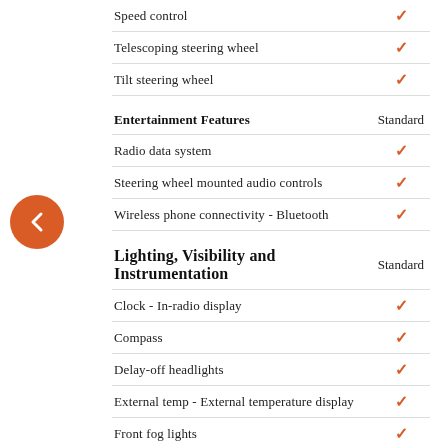| Feature | Standard |
| --- | --- |
| Speed control | ✓ |
| Telescoping steering wheel | ✓ |
| Tilt steering wheel | ✓ |
| Entertainment Features | Standard |
| Radio data system | ✓ |
| Steering wheel mounted audio controls | ✓ |
| Wireless phone connectivity - Bluetooth | ✓ |
| Lighting, Visibility and Instrumentation | Standard |
| Clock - In-radio display | ✓ |
| Compass | ✓ |
| Delay-off headlights | ✓ |
| External temp - External temperature display | ✓ |
| Front fog lights | ✓ |
| Front reading lights | ✓ |
| Fully automatic headlights | ✓ |
| Low fuel level | ✓ |
| Low tire pressure warning | ✓ |